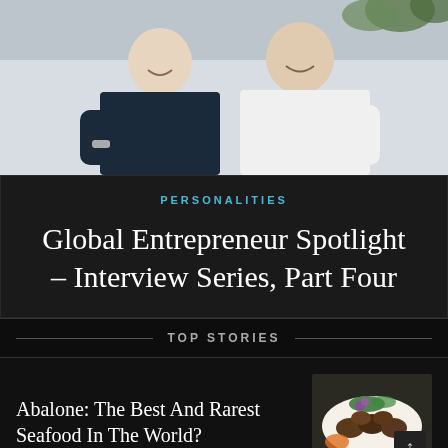[Figure (photo): Two men smiling, one in dark shirt one in white shirt, photo cropped at waist level, light background with plant]
PERSONALITIES
Global Entrepreneur Spotlight – Interview Series, Part Four
TOP STORIES
Abalone: The Best And Rarest Seafood In The World?
[Figure (photo): Plate of abalone seafood dish garnished with purple flowers and greens]